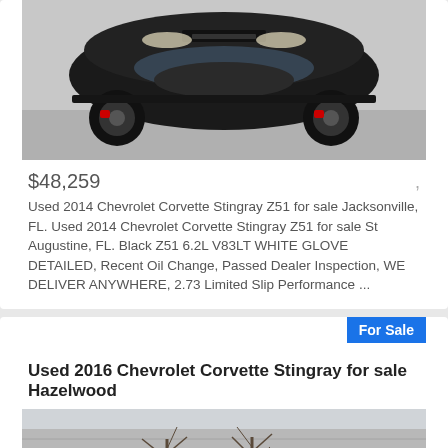[Figure (photo): Black Chevrolet Corvette Stingray Z51 sports car photographed from above-front angle on gray pavement]
$48,259
Used 2014 Chevrolet Corvette Stingray Z51 for sale Jacksonville, FL. Used 2014 Chevrolet Corvette Stingray Z51 for sale St Augustine, FL. Black Z51 6.2L V83LT WHITE GLOVE DETAILED, Recent Oil Change, Passed Dealer Inspection, WE DELIVER ANYWHERE, 2.73 Limited Slip Performance ...
For Sale
Used 2016 Chevrolet Corvette Stingray for sale Hazelwood
[Figure (photo): Gray brick building with bare trees in winter, appearing to be a car dealership exterior]